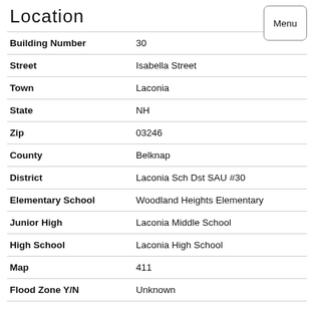Location
| Field | Value |
| --- | --- |
| Building Number | 30 |
| Street | Isabella Street |
| Town | Laconia |
| State | NH |
| Zip | 03246 |
| County | Belknap |
| District | Laconia Sch Dst SAU #30 |
| Elementary School | Woodland Heights Elementary |
| Junior High | Laconia Middle School |
| High School | Laconia High School |
| Map | 411 |
| Flood Zone Y/N | Unknown |